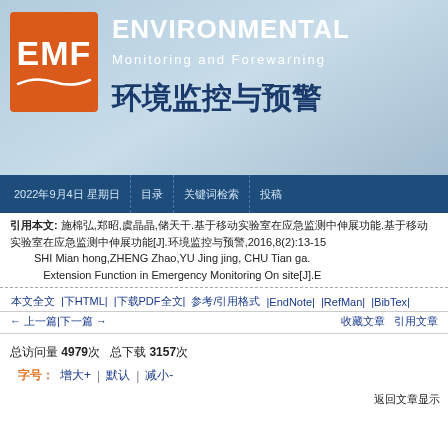[Figure (logo): EMF Environmental Monitoring and Forewarning journal header banner with orange EMF logo box, English title 'ENVIRONMENTAL Monitoring and Forewarning', and Chinese title '环境监控与预警' on a blue gradient background]
2022年9月4日 星期日  目录  关键词检索  投稿
引用本文: 施棉弘,郑昭,虞晶晶,储天干.基于移动实验室在应急监测中伸展功能[J].环境监控与预警,2016,8(2):13-15
SHI Mian hong,ZHENG Zhao,YU Jing jing, CHU Tian ga. Extension Function in Emergency Monitoring On site[J].E
本文全文  下载HTML  下载PDF全文  参考文献/引用  导出EndNote  导出RefMan  导出BibTex
← 上一篇|下一篇 →   收藏文章  引用文章
总访问量 4979次  总下载 3157次
字号:  增大+  |  默认  |  减小-
返回文章显示